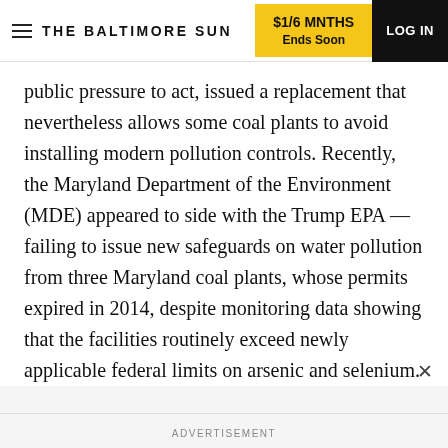THE BALTIMORE SUN | $1/6 MNTHS Ends Soon | LOG IN
public pressure to act, issued a replacement that nevertheless allows some coal plants to avoid installing modern pollution controls. Recently, the Maryland Department of the Environment (MDE) appeared to side with the Trump EPA — failing to issue new safeguards on water pollution from three Maryland coal plants, whose permits expired in 2014, despite monitoring data showing that the facilities routinely exceed newly applicable federal limits on arsenic and selenium.
ADVERTISEMENT